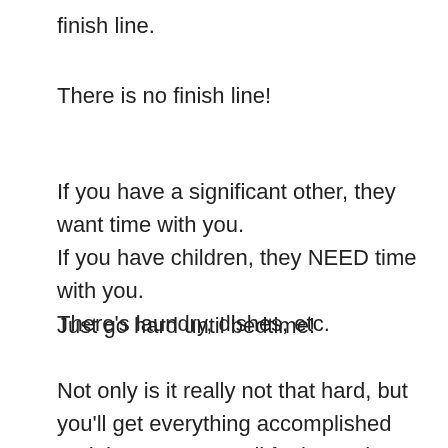finish line.
There is no finish line!
If you have a significant other, they want time with you.
If you have children, they NEED time with you.
There's laundry, dishes, etc.
Just go hard until bedtime!
Not only is it really not that hard, but you'll get everything accomplished and that means you'll feel WAY better when you go to bed than if you